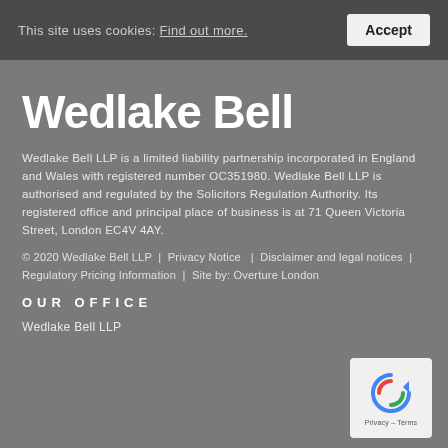This site uses cookies: Find out more. Accept
Wedlake Bell
Wedlake Bell LLP is a limited liability partnership incorporated in England and Wales with registered number OC351980. Wedlake Bell LLP is authorised and regulated by the Solicitors Regulation Authority. Its registered office and principal place of business is at 71 Queen Victoria Street, London EC4V 4AY.
© 2020 Wedlake Bell LLP | Privacy Notice | Disclaimer and legal notices | Regulatory Pricing Information | Site by: Overture London
OUR OFFICE
Wedlake Bell LLP